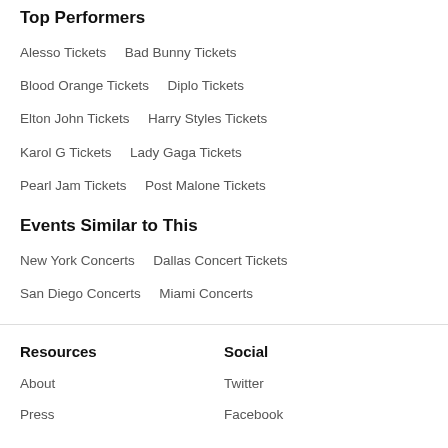Top Performers
Alesso Tickets
Bad Bunny Tickets
Blood Orange Tickets
Diplo Tickets
Elton John Tickets
Harry Styles Tickets
Karol G Tickets
Lady Gaga Tickets
Pearl Jam Tickets
Post Malone Tickets
Events Similar to This
New York Concerts
Dallas Concert Tickets
San Diego Concerts
Miami Concerts
Resources
Social
About
Twitter
Press
Facebook